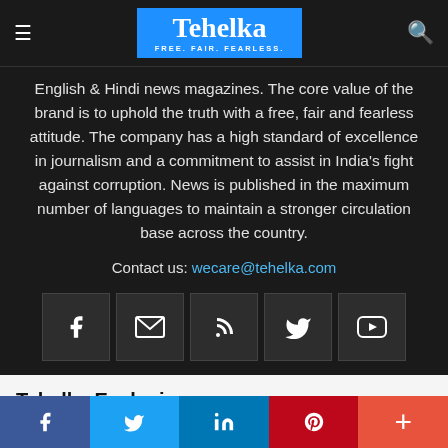Tehelka — FREE. FAIR. FEARLESS.
English & Hindi news magazines. The core value of the brand is to uphold the truth with a free, fair and fearless attitude. The company has a high standard of excellence in journalism and a commitment to assist in India's fight against corruption. News is published in the maximum number of languages to maintain a stronger circulation base across the country.
Contact us: wecare@tehelka.com
[Figure (infographic): Row of 5 social media icon buttons: Facebook, Email, RSS, Twitter, YouTube]
Tehelka Exclusive
Kejriwal govt wins confidence vote amid walkout by BJP
Social share bar: Facebook, Twitter, LinkedIn, Pinterest, More